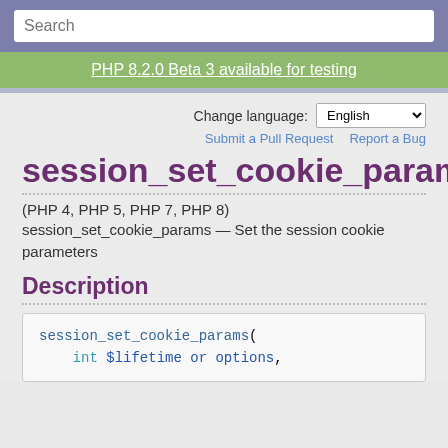Search
PHP 8.2.0 Beta 3 available for testing
Change language: English
Submit a Pull Request   Report a Bug
session_set_cookie_params
(PHP 4, PHP 5, PHP 7, PHP 8)
session_set_cookie_params — Set the session cookie parameters
Description
session_set_cookie_params(
    int $lifetime or options,